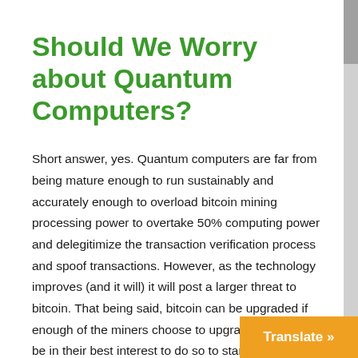Should We Worry about Quantum Computers?
Short answer, yes. Quantum computers are far from being mature enough to run sustainably and accurately enough to overload bitcoin mining processing power to overtake 50% computing power and delegitimize the transaction verification process and spoof transactions. However, as the technology improves (and it will) it will post a larger threat to bitcoin. That being said, bitcoin can be upgraded if enough of the miners choose to upgrade and it would be in their best interest to do so to start to build improvements as Quantum computer mature. The largest threat in my opinion would be a bad actor working in secret building up Qu...